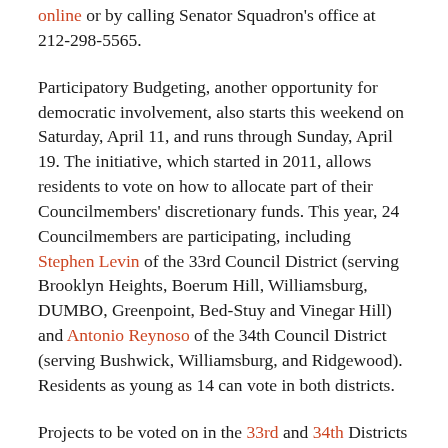online or by calling Senator Squadron's office at 212-298-5565.
Participatory Budgeting, another opportunity for democratic involvement, also starts this weekend on Saturday, April 11, and runs through Sunday, April 19. The initiative, which started in 2011, allows residents to vote on how to allocate part of their Councilmembers' discretionary funds. This year, 24 Councilmembers are participating, including Stephen Levin of the 33rd Council District (serving Brooklyn Heights, Boerum Hill, Williamsburg, DUMBO, Greenpoint, Bed-Stuy and Vinegar Hill) and Antonio Reynoso of the 34th Council District (serving Bushwick, Williamsburg, and Ridgewood). Residents as young as 14 can vote in both districts.
Projects to be voted on in the 33rd and 34th Districts include everything from pedestrian safety, to renovated NYCHA playgrounds, updated libraries, and upgraded school and senior center bathrooms. Information on all the projects is available online, and also at Project Expos in each participating District. The 33rd District will be displaying its projects at McCarren